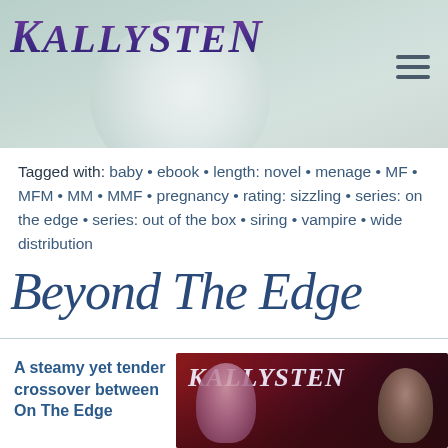[Figure (logo): Kallysten website header with stylized purple/blue italic logo text and a moon background on a muted teal gradient, with a hamburger menu icon in the top right]
Tagged with: baby • ebook • length: novel • menage • MF • MFM • MM • MMF • pregnancy • rating: sizzling • series: on the edge • series: out of the box • siring • vampire • wide distribution
Beyond The Edge
A steamy yet tender crossover between On The Edge
[Figure (photo): Book cover for Kallysten's 'Beyond The Edge' showing the Kallysten logo over a dark red background with two figures/faces]